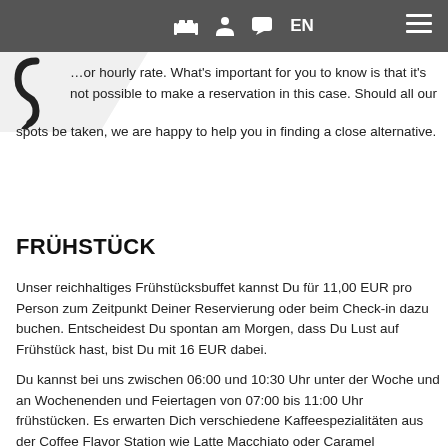Navigation bar with icons and EN language selector
…or hourly rate. What's important for you to know is that it's not possible to make a reservation in this case. Should all our spots be taken, we are happy to help you in finding a close alternative.
FRÜHSTÜCK
Unser reichhaltiges Frühstücksbuffet kannst Du für 11,00 EUR pro Person zum Zeitpunkt Deiner Reservierung oder beim Check-in dazu buchen. Entscheidest Du spontan am Morgen, dass Du Lust auf Frühstück hast, bist Du mit 16 EUR dabei.
Du kannst bei uns zwischen 06:00 und 10:30 Uhr unter der Woche und an Wochenenden und Feiertagen von 07:00 bis 11:00 Uhr frühstücken. Es erwarten Dich verschiedene Kaffeespezialitäten aus der Coffee Flavor Station wie Latte Macchiato oder Caramel…